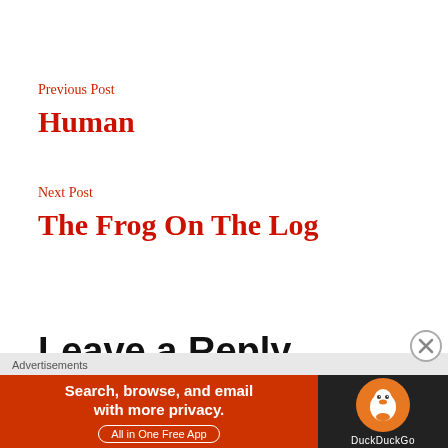Previous Post
Human
Next Post
The Frog On The Log
Leave a Reply
[Figure (screenshot): DuckDuckGo advertisement banner: 'Search, browse, and email with more privacy. All in One Free App' with DuckDuckGo logo on the right side.]